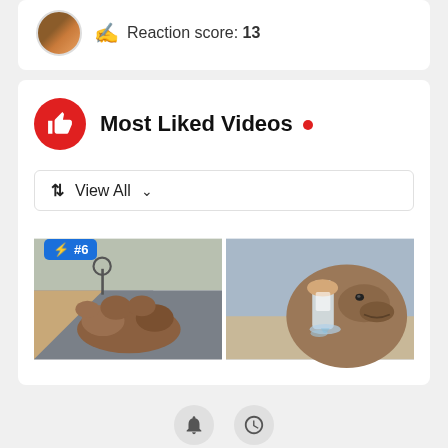Reaction score: 13
Most Liked Videos
View All
[Figure (screenshot): Two video thumbnails side by side. Left thumbnail shows a camel lying on a desert road with a #6 badge overlay. Right thumbnail shows a hand giving a camel water from a bottle.]
Bell icon and clock icon buttons at the bottom